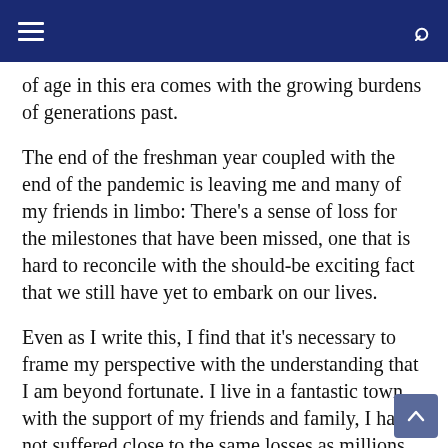Navigation bar with hamburger menu and search icon
of age in this era comes with the growing burdens of generations past.
The end of the freshman year coupled with the end of the pandemic is leaving me and many of my friends in limbo: There's a sense of loss for the milestones that have been missed, one that is hard to reconcile with the should-be exciting fact that we still have yet to embark on our lives.
Even as I write this, I find that it's necessary to frame my perspective with the understanding that I am beyond fortunate. I live in a fantastic town with the support of my friends and family, I have not suffered close to the same losses as millions throughout the world and am privileged to even have had the facilities to pursue a high